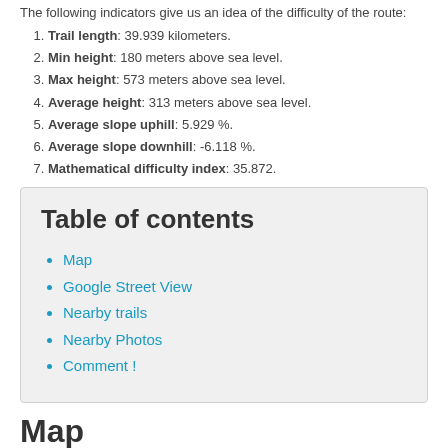The following indicators give us an idea of the difficulty of the route:
Trail length: 39.939 kilometers.
Min height: 180 meters above sea level.
Max height: 573 meters above sea level.
Average height: 313 meters above sea level.
Average slope uphill: 5.929 %.
Average slope downhill: -6.118 %.
Mathematical difficulty index: 35.872.
Table of contents
Map
Google Street View
Nearby trails
Nearby Photos
Comment !
Map